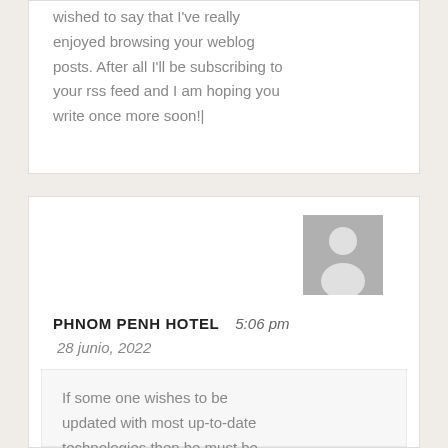wished to say that I've really enjoyed browsing your weblog posts. After all I'll be subscribing to your rss feed and I am hoping you write once more soon!|
[Figure (illustration): Generic user avatar placeholder - grey silhouette of a person on grey background]
PHNOM PENH HOTEL   5:06 pm
28 junio, 2022
If some one wishes to be updated with most up-to-date technologies then he must be pay a quick visit this web site and be up to date every day.|